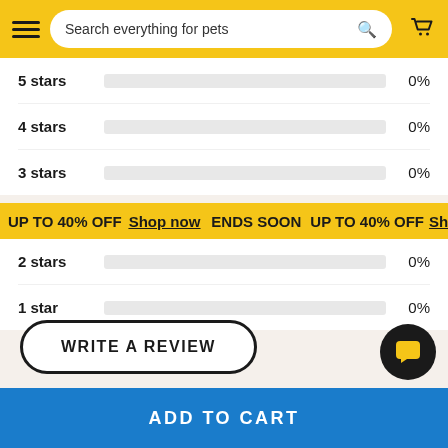Search everything for pets
| Stars | Bar | Percentage |
| --- | --- | --- |
| 5 stars |  | 0% |
| 4 stars |  | 0% |
| 3 stars |  | 0% |
| 2 stars |  | 0% |
| 1 star |  | 0% |
UP TO 40% OFF  Shop now  ENDS SOON  UP TO 40% OFF  Shop
WRITE A REVIEW
There are no reviews for this item. Be the first to give your review!
ADD TO CART